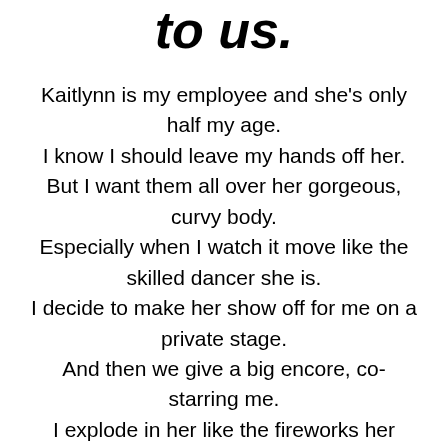to us.
Kaitlynn is my employee and she's only half my age.
I know I should leave my hands off her.
But I want them all over her gorgeous, curvy body.
Especially when I watch it move like the skilled dancer she is.
I decide to make her show off for me on a private stage.
And then we give a big encore, co-starring me.
I explode in her like the fireworks her performance inspired.
Both of us swear this is just a quick, temporary fling.